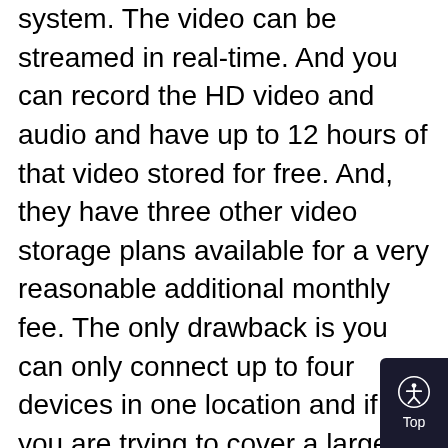system. The video can be streamed in real-time. And you can record the HD video and audio and have up to 12 hours of that video stored for free. And, they have three other video storage plans available for a very reasonable additional monthly fee. The only drawback is you can only connect up to four devices in one location and if you are trying to cover a large area or you have several closed rooms, this could be a problem. The Canary equipment is sleek, durable, wireless, and weatherproof. In addition, it has a very loud security siren and the system will send you motion-activated alerts when an event is detected.